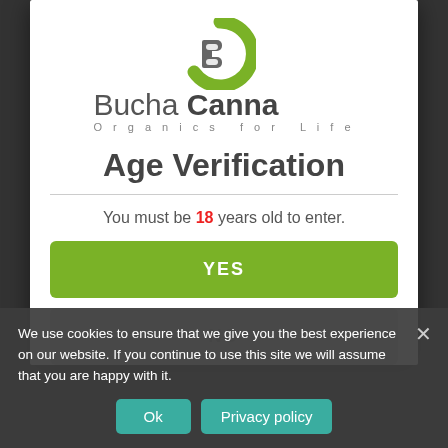[Figure (logo): Bucha Canna Organics for Life logo with green circular B icon]
Age Verification
You must be 18 years old to enter.
YES
NO
We use cookies to ensure that we give you the best experience on our website. If you continue to use this site we will assume that you are happy with it.
Ok
Privacy policy